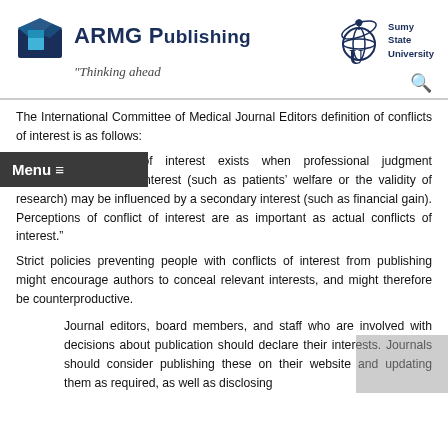[Figure (logo): ARMG Publishing logo with book icon and tagline 'Thinking ahead']
[Figure (logo): Sumy State University logo]
The International Committee of Medical Journal Editors definition of conflicts of interest is as follows:
"A conflict of interest exists when professional judgment concerning a primary interest (such as patients' welfare or the validity of research) may be influenced by a secondary interest (such as financial gain). Perceptions of conflict of interest are as important as actual conflicts of interest."
Strict policies preventing people with conflicts of interest from publishing might encourage authors to conceal relevant interests, and might therefore be counterproductive.
Journal editors, board members, and staff who are involved with decisions about publication should declare their interests. Journals should consider publishing these on their website and updating them as required, as well as disclosing